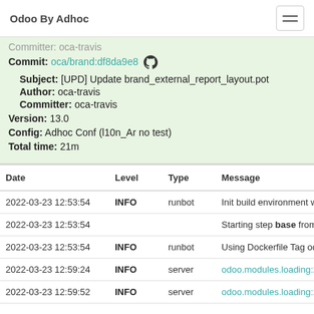Odoo By Adhoc
Commit: oca/brand:df8da9e8
Subject: [UPD] Update brand_external_report_layout.pot
Author: oca-travis
Committer: oca-travis
Version: 13.0
Config: Adhoc Conf (l10n_Ar no test)
Total time: 21m
| Date | Level | Type | Message |
| --- | --- | --- | --- |
| 2022-03-23 12:53:54 | INFO | runbot | Init build environment with c |
| 2022-03-23 12:53:54 |  |  | Starting step base from conf |
| 2022-03-23 12:53:54 | INFO | runbot | Using Dockerfile Tag odoo:D |
| 2022-03-23 12:59:24 | INFO | server | odoo.modules.loading:279 1 |
| 2022-03-23 12:59:52 | INFO | server | odoo.modules.loading:279 1 |